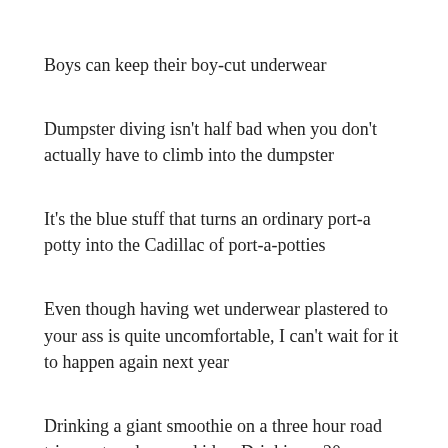Boys can keep their boy-cut underwear
Dumpster diving isn't half bad when you don't actually have to climb into the dumpster
It's the blue stuff that turns an ordinary port-a potty into the Cadillac of port-a-potties
Even though having wet underwear plastered to your ass is quite uncomfortable, I can't wait for it to happen again next year
Drinking a giant smoothie on a three hour road trip - not such a good idea. Drinking a 20 oz Pepsi on the way home - an absolute